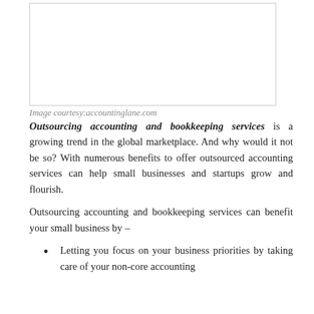[Figure (other): White rectangular image placeholder with a thin gray border]
Image courtesy:accountinglane.com
Outsourcing accounting and bookkeeping services is a growing trend in the global marketplace. And why would it not be so? With numerous benefits to offer outsourced accounting services can help small businesses and startups grow and flourish.
Outsourcing accounting and bookkeeping services can benefit your small business by –
Letting you focus on your business priorities by taking care of your non-core accounting functions